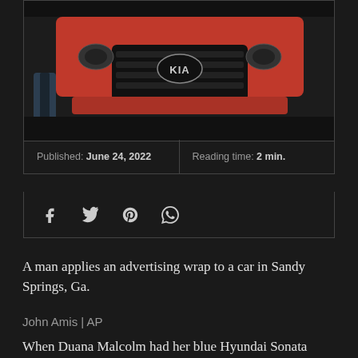[Figure (photo): A man applies an advertising wrap to a red Kia car, showing the front grille and hood area. Taken in Sandy Springs, Ga.]
Published: June 24, 2022    Reading time: 2 min.
[Figure (infographic): Social sharing icons: Facebook, Twitter, Pinterest, WhatsApp]
A man applies an advertising wrap to a car in Sandy Springs, Ga.
John Amis | AP
When Duana Malcolm had her blue Hyundai Sonata sedan 'wrapped' as a mobile advertising board, the part-time